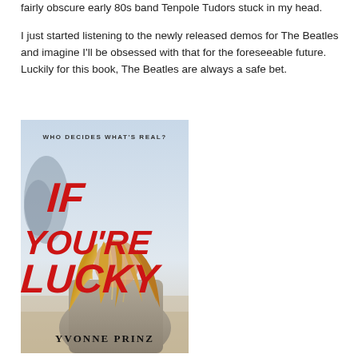fairly obscure early 80s band Tenpole Tudors stuck in my head.
I just started listening to the newly released demos for The Beatles and imagine I'll be obsessed with that for the foreseeable future. Luckily for this book, The Beatles are always a safe bet.
[Figure (illustration): Book cover of 'If You're Lucky' by Yvonne Prinz. Shows the back of a blonde-haired woman in a sweater against a coastal/beach background. Red hand-lettered title text reads 'IF YOU'RE LUCKY'. Tagline at top reads 'WHO DECIDES WHAT'S REAL?'. Author name 'YVONNE PRINZ' at bottom in black serif-style caps.]